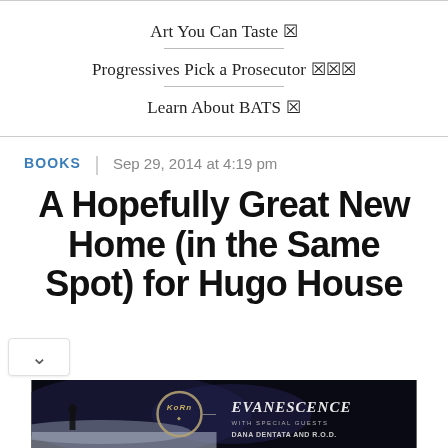Art You Can Taste ☒
Progressives Pick a Prosecutor ☒☒☒
Learn About BATS ☒
BOOKS | Sep 29, 2014 at 4:19 pm
A Hopefully Great New Home (in the Same Spot) for Hugo House
[Figure (photo): Advertisement banner for Korn and Evanescence concert with special guests Dana Dentata and R.O.D., dark background with silhouetted figure]